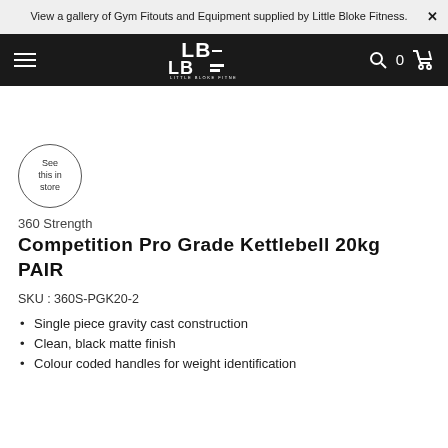View a gallery of Gym Fitouts and Equipment supplied by Little Bloke Fitness.
[Figure (screenshot): Little Bloke Fitness website navigation bar with hamburger menu, LBF logo, search icon, cart count 0, and cart icon on black background]
[Figure (other): Circular badge with text: See this in store]
360 Strength
Competition Pro Grade Kettlebell 20kg PAIR
SKU : 360S-PGK20-2
Single piece gravity cast construction
Clean, black matte finish
Colour coded handles for weight identification